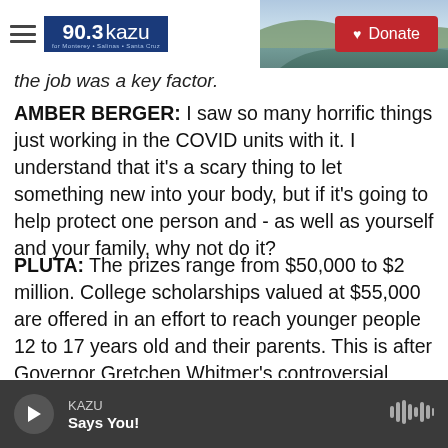90.3 KAZU — Donate
the job was a key factor.
AMBER BERGER: I saw so many horrific things just working in the COVID units with it. I understand that it's a scary thing to let something new into your body, but if it's going to help protect one person and - as well as yourself and your family, why not do it?
PLUTA: The prizes range from $50,000 to $2 million. College scholarships valued at $55,000 are offered in an effort to reach younger people 12 to 17 years old and their parents. This is after Governor Gretchen Whitmer's controversial emergency orders that restricted gatherings and
KAZU — Says You!